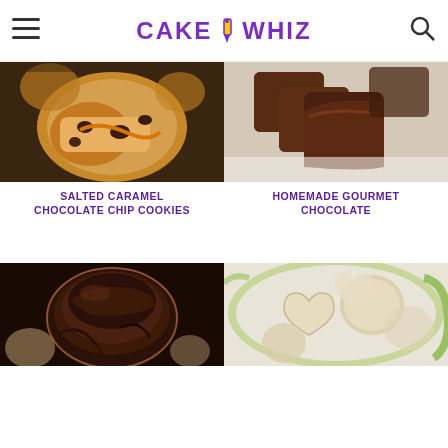CAKE WHIZ
[Figure (photo): Close-up of a salted caramel chocolate chip cookie broken in half showing gooey caramel and chocolate chips on a dark wooden surface]
SALTED CARAMEL CHOCOLATE CHIP COOKIES
[Figure (photo): Homemade gourmet chocolate pieces on a light wooden surface, dark chocolate coating with one broken open]
HOMEMADE GOURMET CHOCOLATE
[Figure (photo): Chocolate brownie or lava cake in a muffin tin with chocolate drizzle]
[Figure (photo): Heart-shaped and round sugar cookies on a green surface]